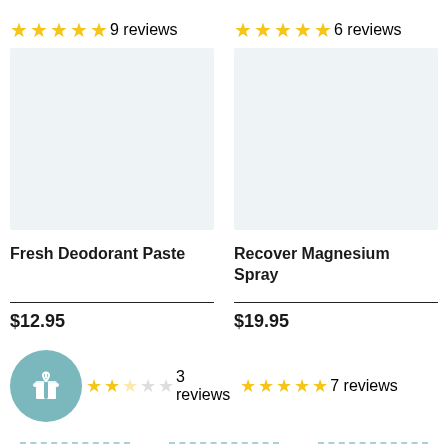[Figure (other): Star rating: 5 stars, 9 reviews (left product)]
[Figure (other): Star rating: 5 stars, 6 reviews (right product)]
[Figure (photo): Product image placeholder light blue-grey rectangle for Fresh Deodorant Paste]
[Figure (photo): Product image placeholder light blue-grey rectangle for Recover Magnesium Spray]
Fresh Deodorant Paste
Recover Magnesium Spray
$12.95
$19.95
[Figure (other): Gift badge icon circle teal with gift box]
[Figure (other): Star rating: 2 stars, 3 reviews (left bottom)]
[Figure (other): Star rating: 5 stars, 7 reviews (right bottom)]